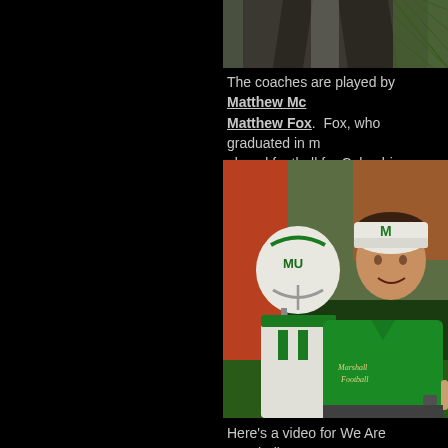[Figure (photo): Partial torso of a person in a dark jacket, viewed from the side, outdoors.]
The coaches are played by Matthew McConaughey and Matthew Fox.  Fox, who graduated in m... played football for Columbia University.
[Figure (photo): A man wearing a green Marshall Football polo shirt and a white cap with M logo stands next to a player in a white Marshall football helmet. Scene from the film We Are Marshall.]
Here's a video for We Are Marshall: